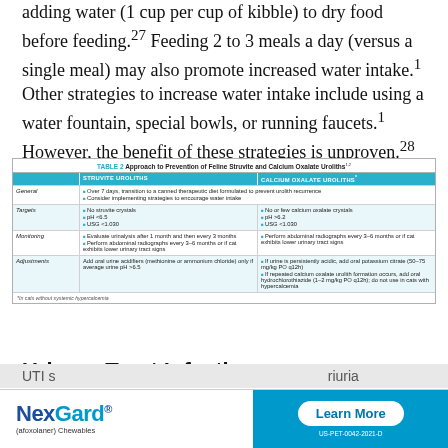adding water (1 cup per cup of kibble) to dry food before feeding.27 Feeding 2 to 3 meals a day (versus a single meal) may also promote increased water intake.1 Other strategies to increase water intake include using a water fountain, special bowls, or running faucets.1 However, the benefit of these strategies is unproven.28
|  | STRUVITE UROLITHS | CALCIUM OXALATE UROLITHS* |
| --- | --- | --- |
| General | Over 7 days, transition to a canned therapeutic diet formulated to prevent urolith recurrence
Consider implementing strategies to encourage water intake |  |
| Targets | No struvite crystals
pH <6.5
USG <1.030 | No or few calcium oxalate crystals
pH >6.2
USG <1.030 |
| Monitoring | Evaluate urinalysis after 1 month and then every 3 months
Perform abdominal radiographs every 3–6 months or if cat exhibits lower urinary tract signs | Perform abdominal radiographs every 3–6 months or if cat exhibits lower urinary tract signs |
| Adjustments | Add oral urine acidifiers (methionine or ammonium chloride) only if average urine pH >6.5 | If urine is persistently acidic, add oral potassium citrate (50–75 mg/kg PO q12h)
If repeated calcium oxalate urolith formation occurs, add oral hydrochlorothiazide (1–2 mg/kg PO q12h); do not use in cats with hypercalcemia |
Urinary Tract Infection
[Figure (other): NexGard (afoxolaner) Chewables advertisement banner with Learn More button. Code: US-PET-0042-2021-D]
UTI s... ...riuria